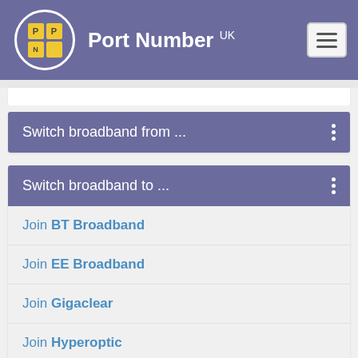Port Number UK
Switch broadband from ...
Switch broadband to ...
Join BT Broadband
Join EE Broadband
Join Gigaclear
Join Hyperoptic
Join John Lewis Broadband
Join Plusnet Broadband
Join TalkTalk Broadband